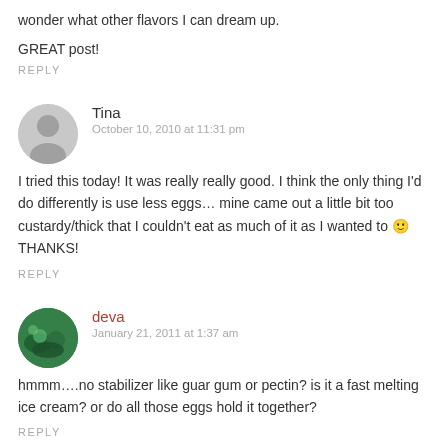wonder what other flavors I can dream up.
GREAT post!
REPLY
Tina
October 10, 2010 at 11:31 pm
I tried this today! It was really really good. I think the only thing I'd do differently is use less eggs… mine came out a little bit too custardy/thick that I couldn't eat as much of it as I wanted to 🙂 THANKS!
REPLY
deva
January 21, 2011 at 1:37 am
hmmm….no stabilizer like guar gum or pectin? is it a fast melting ice cream? or do all those eggs hold it together?
REPLY